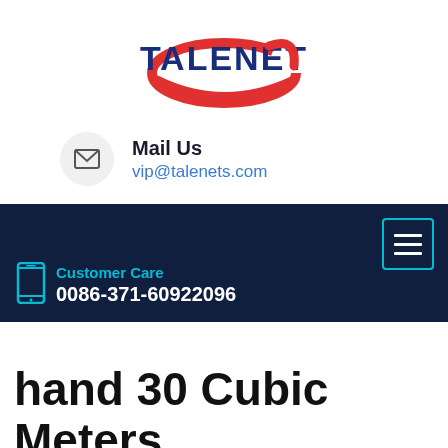[Figure (logo): TALENET company logo with red swoosh accent and dark blue bold text]
Mail Us
vip@talenets.com
Customer Care
0086-371-60922096
hand 30 Cubic Meters Dump Truck Trailer